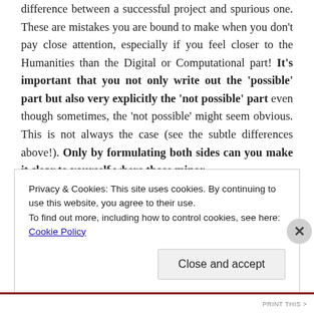difference between a successful project and spurious one. These are mistakes you are bound to make when you don't pay close attention, especially if you feel closer to the Humanities than the Digital or Computational part! It's important that you not only write out the 'possible' part but also very explicitly the 'not possible' part even though sometimes, the 'not possible' might seem obvious. This is not always the case (see the subtle differences above!). Only by formulating both sides can you make it clear to yourself where those minor
Privacy & Cookies: This site uses cookies. By continuing to use this website, you agree to their use.
To find out more, including how to control cookies, see here: Cookie Policy